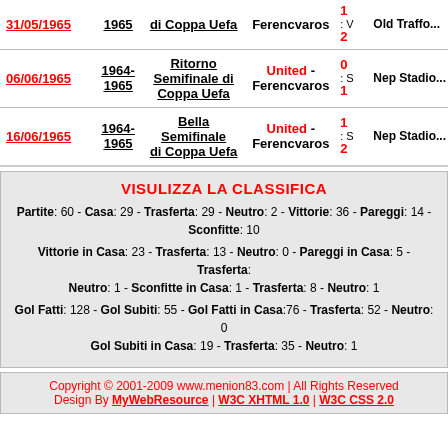| Date | Season | Round | Teams | Score | Venue |
| --- | --- | --- | --- | --- | --- |
| 31/05/1965 | 1965 | di Coppa Uefa | Ferencvaros | 1-2 V | Old Traffo... |
| 06/06/1965 | 1964-1965 | Ritorno Seminale di Coppa Uefa | United - Ferencvaros | 0-1 S | Nep Stadio... |
| 16/06/1965 | 1964-1965 | Bella Semifinale di Coppa Uefa | United - Ferencvaros | 1-2 S | Nep Stadio... |
VISULIZZA LA CLASSIFICA
Partite: 60 - Casa: 29 - Trasferta: 29 - Neutro: 2 - Vittorie: 36 - Pareggi: 14 - Sconfitte: 10
Vittorie in Casa: 23 - Trasferta: 13 - Neutro: 0 - Pareggi in Casa: 5 - Trasferta: Neutro: 1 - Sconfitte in Casa: 1 - Trasferta: 8 - Neutro: 1
Gol Fatti: 128 - Gol Subiti: 55 - Gol Fatti in Casa:76 - Trasferta: 52 - Neutro: 0 Gol Subiti in Casa: 19 - Trasferta: 35 - Neutro: 1
Copyright © 2001-2009 www.menion83.com | All Rights Reserved Design By MyWebResource | W3C XHTML 1.0 | W3C CSS 2.0